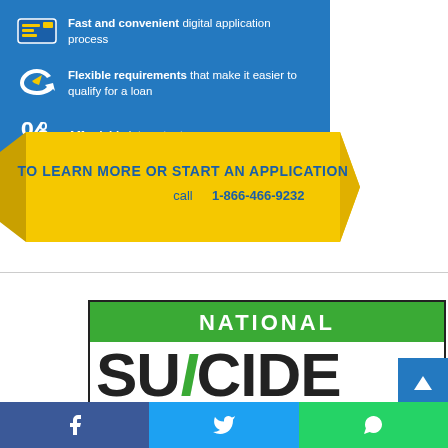Fast and convenient digital application process
Flexible requirements that make it easier to qualify for a loan
Affordable interest rates
[Figure (infographic): Yellow ribbon banner with text: TO LEARN MORE OR START AN APPLICATION call 1-866-466-9232]
[Figure (logo): National Suicide Prevention logo - partial view showing green NATIONAL bar and large SUICIDE text in dark color with green italic letter]
[Figure (infographic): Social sharing bar with Facebook, Twitter, and WhatsApp buttons]